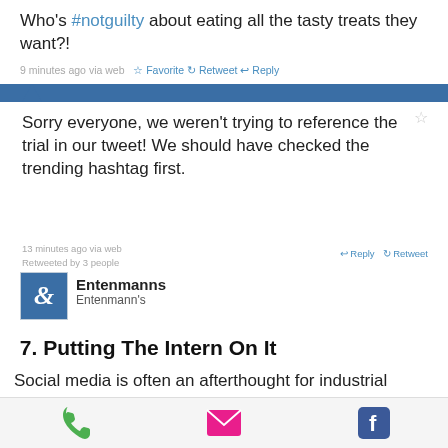Who's #notguilty about eating all the tasty treats they want?!
9 minutes ago via web  Favorite  Retweet  Reply
Sorry everyone, we weren't trying to reference the trial in our tweet! We should have checked the trending hashtag first.
13 minutes ago via web
Retweeted by 3 people    Reply  Retweet
[Figure (logo): Entenmanns brand logo with stylized E in blue square]
Entenmanns
Entenmann's
7. Putting The Intern On It
Social media is often an afterthought for industrial companies and, as a result, managing profiles tends to fall to the lowest person on the organizational totem pole. If this person happens to be an intern fresh out of college, or the
[Figure (infographic): Bottom toolbar with phone, email, and Facebook icons]